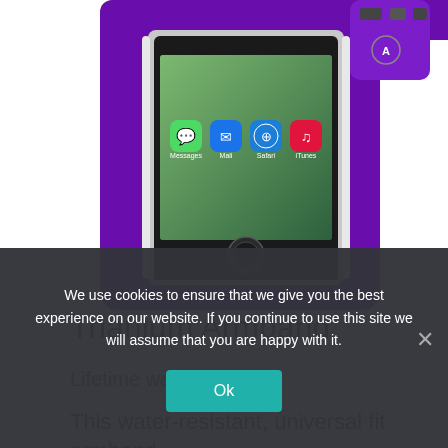[Figure (photo): Purple Trianium armband product photo showing an iPhone inserted into a purple neoprene sports armband holder, viewed from the front.]
Trianium Armband
Lifetime warranty
This water-resistant, universal fit armband
We use cookies to ensure that we give you the best experience on our website. If you continue to use this site we will assume that you are happy with it.